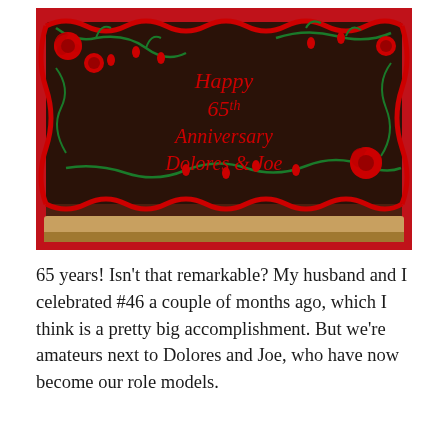[Figure (photo): A chocolate sheet cake with red and green frosting decorations including roses and vines. The cake reads 'Happy 65th Anniversary Dolores & Joe' in red script frosting on a dark chocolate background. The cake is photographed on a red surface.]
65 years! Isn't that remarkable? My husband and I celebrated #46 a couple of months ago, which I think is a pretty big accomplishment. But we're amateurs next to Dolores and Joe, who have now become our role models.